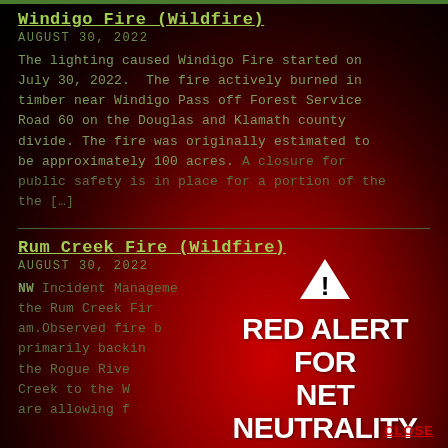Windigo Fire (Wildfire)
AUGUST 30, 2022
The lighting caused Windigo Fire started on July 30, 2022.  The fire actively burned in timber near Windigo Pass off Forest Service Road 60 on the Douglas and Klamath county divide. The fire was originally estimated to be approximately 100 acres. A closure for public safety is in place for a portion of the the [...]
Rum Creek Fire (Wildfire)
AUGUST 30, 2022
NW Incident Management the Rum Creek Fire am.Observed fire b primarily backing the Rogue River Creek to the W are allowing f
[Figure (infographic): Red Alert for Net Neutrality overlay with warning triangle icon, bold white text 'RED ALERT FOR NET NEUTRALITY', black button 'TAKE ACTION', and red underlined 'CLOSE' link in bottom right]
CLOSE